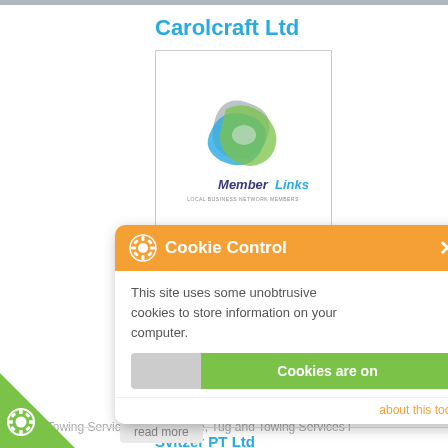Carolcraft Ltd
[Figure (logo): MemberLinks local business network badge logo — stylized ribbon ball in blue, green, grey with MemberLinks text below]
7 Woodlands Close
Teston
Maidstone, Kent
ME18 5AL
United Kingdom
Carolcraft Ltd is li...
Tug and Towing...
Tug and Towing...
Tug and Towing...
Tug and Towing Services in Maidstone, Tug and Towing Services i...
[Figure (screenshot): Cookie Control popup overlay with orange header, gear icon, cookie control title, X close button, body text 'This site uses some unobtrusive cookies to store information on your computer.', a toggle slider showing 'Cookies are on' in green, and an 'about this tool' link in orange footer]
Svitzer PT Ltd
read more